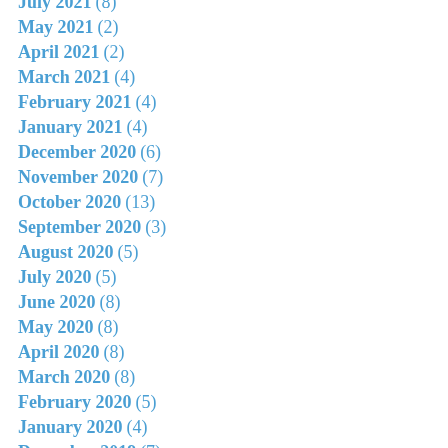July 2021 (8)
May 2021 (2)
April 2021 (2)
March 2021 (4)
February 2021 (4)
January 2021 (4)
December 2020 (6)
November 2020 (7)
October 2020 (13)
September 2020 (3)
August 2020 (5)
July 2020 (5)
June 2020 (8)
May 2020 (8)
April 2020 (8)
March 2020 (8)
February 2020 (5)
January 2020 (4)
December 2019 (7)
November 2019 (7)